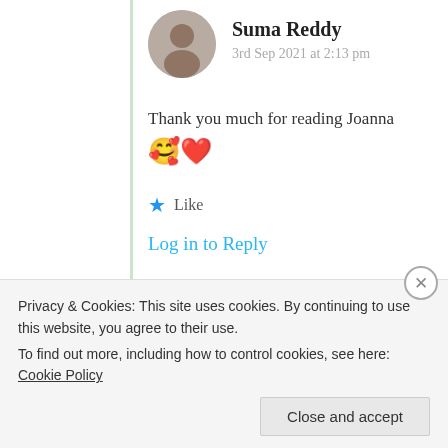Suma Reddy
3rd Sep 2021 at 2:13 pm
Thank you much for reading Joanna 🥰❤️
★ Like
Log in to Reply
Privacy & Cookies: This site uses cookies. By continuing to use this website, you agree to their use.
To find out more, including how to control cookies, see here: Cookie Policy
Close and accept